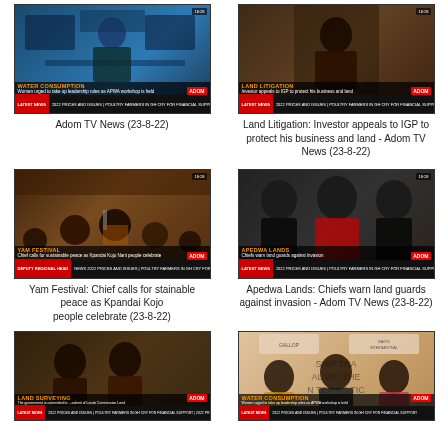[Figure (screenshot): Adom TV News thumbnail - Water Consumption segment with female anchor]
Adom TV News (23-8-22)
[Figure (screenshot): Adom TV News thumbnail - Land Litigation segment with man in doorway]
Land Litigation: Investor appeals to IGP to protect his business and land - Adom TV News (23-8-22)
[Figure (screenshot): Adom TV News thumbnail - Yam Festival segment with chief and people celebrating]
Yam Festival: Chief calls for sustainable peace as Kpandai Kojo people celebrate (23-8-22)
[Figure (screenshot): Adom TV News thumbnail - Apedwa Lands segment with chiefs warning land guards against invasion]
Apedwa Lands: Chiefs warn land guards against invasion - Adom TV News (23-8-22)
[Figure (screenshot): Adom TV News thumbnail - Land Surveying segment (partial, bottom of page)]
[Figure (screenshot): Adom TV News thumbnail - Water Consumption / Leadership Training for Professional Women segment (partial, bottom of page)]